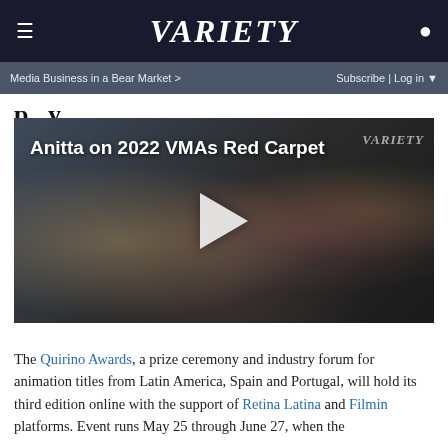≡  VARIETY  👤  Media Business in a Bear Market >  Subscribe | Log in ▼
p   y
[Figure (photo): Video thumbnail showing Anitta being interviewed on the 2022 VMAs Red Carpet. A male interviewer in a tan jacket holds a microphone toward Anitta, who is wearing a red outfit and smiling. A Variety watermark is visible in the upper right. A play button is overlaid in the center. Text overlay reads 'Anitta on 2022 VMAs Red Carpet'.]
The Quirino Awards, a prize ceremony and industry forum for animation titles from Latin America, Spain and Portugal, will hold its third edition online with the support of Retina Latina and Filmin platforms. Event runs May 25 through June 27, when the